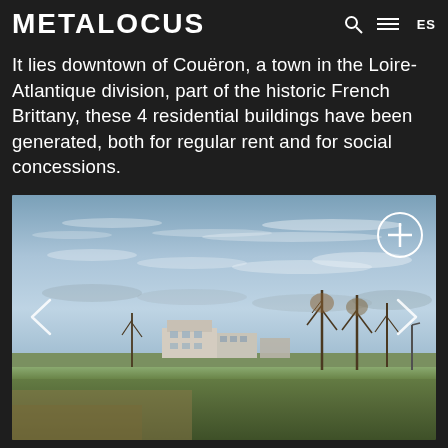METALOCUS | ES
It lies downtown of Couëron, a town in the Loire-Atlantique division, part of the historic French Brittany, these 4 residential buildings have been generated, both for regular rent and for social concessions.
[Figure (photo): Exterior photograph of 4 residential buildings in Couëron, France. The image shows modern low-rise residential buildings viewed across an open grassy field with bare trees. The sky is dramatic with wispy clouds. Navigation arrows on left and right, plus/expand button in top right corner.]